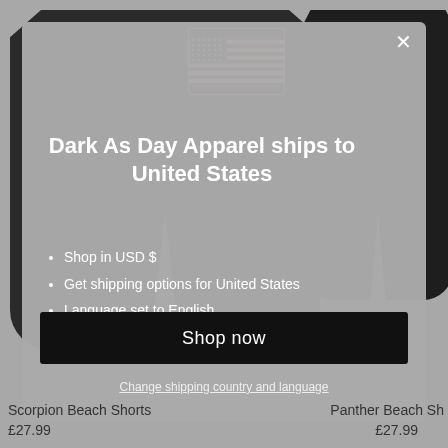[Figure (screenshot): E-commerce modal popup showing Dark As Day Apparel shipping notification to United States, with US flag image, black shorts products in background, shop now button, and change shipping link. Below the modal are two product listings: Scorpion Beach Shorts at £27.99 and Panther Beach Shorts at £27.99.]
Dark As Day Apparel ships to United States
Shop in USD $
Get shipping options for United States
Language set to English
Shop now
Scorpion Beach Shorts
£27.99
Panther Beach Sh...
£27.99
Change shipping country and language